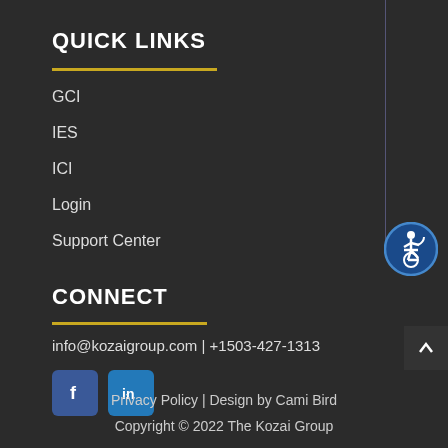QUICK LINKS
GCI
IES
ICI
Login
Support Center
CONNECT
info@kozaigroup.com  |  +1503-427-1313
[Figure (logo): Facebook icon button (blue square with white 'f' letter)]
[Figure (logo): LinkedIn icon button (blue square with white 'in' letters)]
[Figure (illustration): Accessibility icon: person in wheelchair inside a blue circle with white border]
Privacy Policy | Design by Cami Bird
Copyright © 2022 The Kozai Group